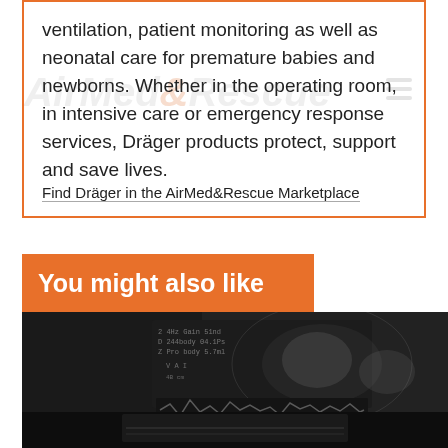ventilation, patient monitoring as well as neonatal care for premature babies and newborns. Whether in the operating room, in intensive care or emergency response services, Dräger products protect, support and save lives.
Find Dräger in the AirMed&Rescue Marketplace
You might also like
[Figure (photo): Ultrasound or medical imaging screen in a dark clinical environment, showing waveform and scan data]